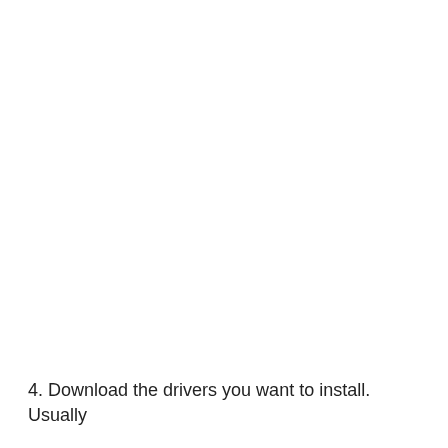4. Download the drivers you want to install. Usually